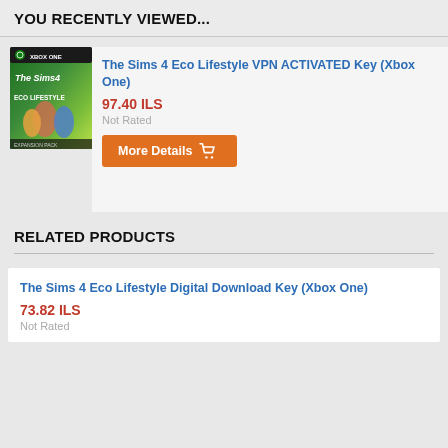YOU RECENTLY VIEWED...
[Figure (photo): The Sims 4 Eco Lifestyle game box art for Xbox One showing characters against a green background with Xbox One branding]
The Sims 4 Eco Lifestyle VPN ACTIVATED Key (Xbox One)
97.40 ILS
Not Rated
More Details
RELATED PRODUCTS
The Sims 4 Eco Lifestyle Digital Download Key (Xbox One)
73.82 ILS
Not Rated